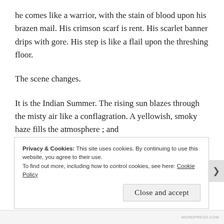he comes like a warrior, with the stain of blood upon his brazen mail. His crimson scarf is rent. His scarlet banner drips with gore. His step is like a flail upon the threshing floor.
The scene changes.
It is the Indian Summer. The rising sun blazes through the misty air like a conflagration. A yellowish, smoky haze fills the atmosphere ; and
—a filmy mist.
Privacy & Cookies: This site uses cookies. By continuing to use this website, you agree to their use.
To find out more, including how to control cookies, see here: Cookie Policy
Close and accept